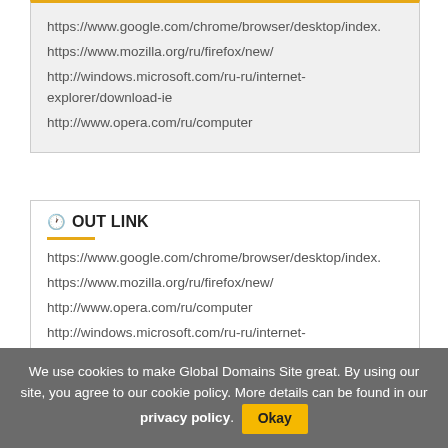https://www.google.com/chrome/browser/desktop/index.
https://www.mozilla.org/ru/firefox/new/
http://windows.microsoft.com/ru-ru/internet-explorer/download-ie
http://www.opera.com/ru/computer
OUT LINK
https://www.google.com/chrome/browser/desktop/index.
https://www.mozilla.org/ru/firefox/new/
http://www.opera.com/ru/computer
http://windows.microsoft.com/ru-ru/internet-
We use cookies to make Global Domains Site great. By using our site, you agree to our cookie policy. More details can be found in our privacy policy. Okay